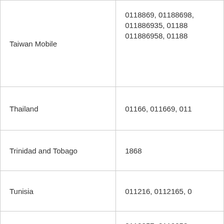| Country | Codes |
| --- | --- |
| Taiwan Mobile | 0118869, 01188698, 011886935, 011886..., 011886958, 011886... |
| Thailand | 01166, 011669, 011... |
| Trinidad and Tobago | 1868 |
| Tunisia | 011216, 0112165, 0... |
| Turkey - Mobile | 0119057, 0119058, 01190592, 0119051..., 0119054885, 01190... |
| Turkey - Mobile Turkcell | 0119053, 01190539..., 0119053384, 01190... |
| Turkey-Landlines | 01190, 01190392, 0... |